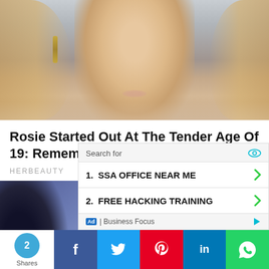[Figure (photo): Close-up photo of a young woman's face with long straight hair and chandelier earrings, against a grey background]
Rosie Started Out At The Tender Age Of 19: Remember Her In 2006?
HERBEAUTY
[Figure (photo): Photo of a young woman with reddish upswept hair looking down, against a blue/purple background, with a dark figure on the left]
Search for
1. SSA OFFICE NEAR ME
2. FREE HACKING TRAINING
Ad | Business Focus
2 Shares